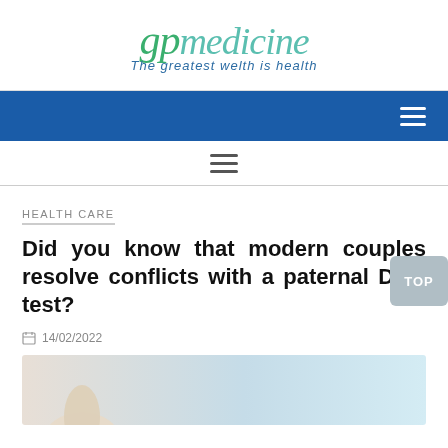[Figure (logo): gp medicine logo with tagline 'The greatest welth is health']
Navigation bar with hamburger menu
Secondary navigation bar with hamburger menu
HEALTH CARE
Did you know that modern couples resolve conflicts with a paternal DNA test?
14/02/2022
[Figure (photo): Gloved hand holding a DNA test tube, light blue background]